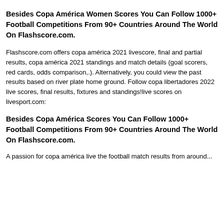Besides Copa América Women Scores You Can Follow 1000+ Football Competitions From 90+ Countries Around The World On Flashscore.com.
Flashscore.com offers copa américa 2021 livescore, final and partial results, copa américa 2021 standings and match details (goal scorers, red cards, odds comparison,.). Alternatively, you could view the past results based on river plate home ground. Follow copa libertadores 2022 live scores, final results, fixtures and standings!live scores on livesport.com:
Besides Copa América Scores You Can Follow 1000+ Football Competitions From 90+ Countries Around The World On Flashscore.com.
A passion for copa américa live the football match results from around...